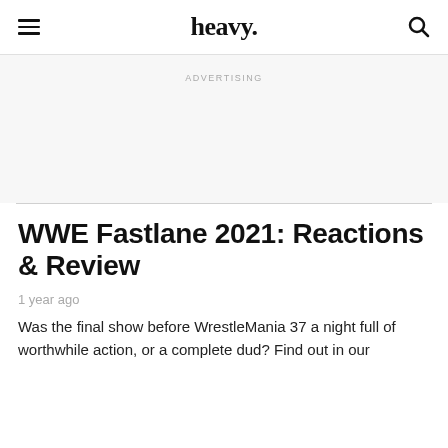heavy.
ADVERTISING
WWE Fastlane 2021: Reactions & Review
1 year ago
Was the final show before WrestleMania 37 a night full of worthwhile action, or a complete dud? Find out in our...